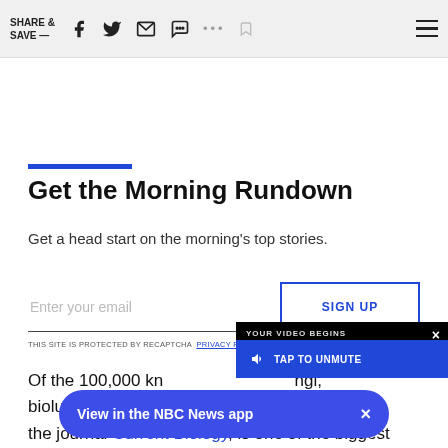SHARE & SAVE —
Get the Morning Rundown
Get a head start on the morning's top stories.
Enter your email  SIGN UP
THIS SITE IS PROTECTED BY RECAPTCHA PRIVACY POLICY | TERMS OF SERVICE
Of the 100,000 known species of fungi, bioluminescent — published in the journal Current Biology, is one of the biggest and